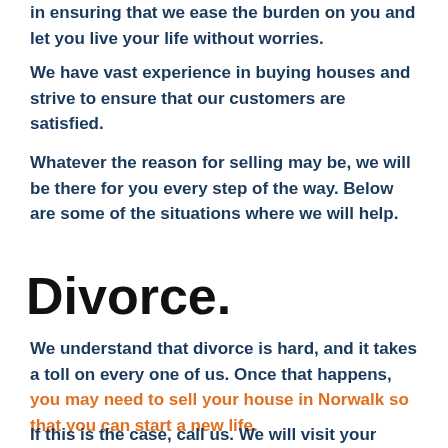in ensuring that we ease the burden on you and let you live your life without worries.
We have vast experience in buying houses and strive to ensure that our customers are satisfied.
Whatever the reason for selling may be, we will be there for you every step of the way. Below are some of the situations where we will help.
Divorce.
We understand that divorce is hard, and it takes a toll on every one of us. Once that happens, you may need to sell your house in Norwalk so that you can start a new life.
If this is the case, call us. We will visit your home